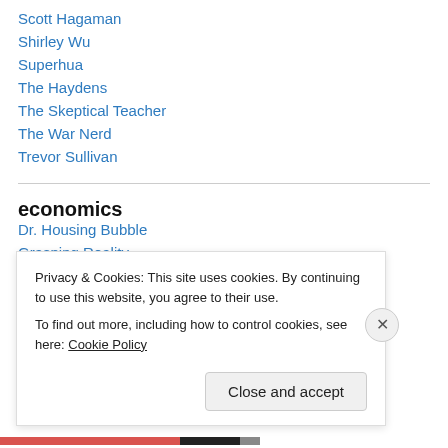Scott Hagaman
Shirley Wu
Superhua
The Haydens
The Skeptical Teacher
The War Nerd
Trevor Sullivan
economics
Dr. Housing Bubble
Grasping Reality
Privacy & Cookies: This site uses cookies. By continuing to use this website, you agree to their use.
To find out more, including how to control cookies, see here: Cookie Policy